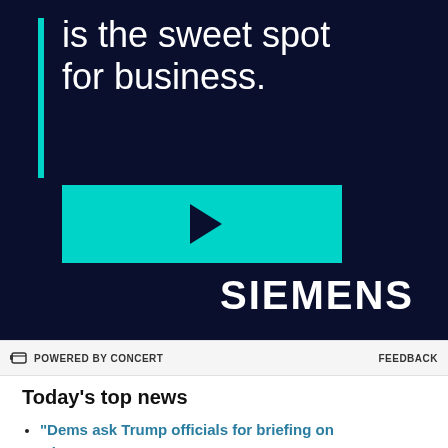[Figure (screenshot): Advertisement for Siemens with dark navy background, cyan vertical bar accent, text 'is the sweet spot for business.', a cyan play button rectangle, and white SIEMENS logo in bold.]
POWERED BY CONCERT    FEEDBACK
Today's top news
"Dems ask Trump officials for briefing on ObamaCare": "Top Democrats on committees overseeing healthcare are requesting a briefing on the administration's plans for ObamaCare's